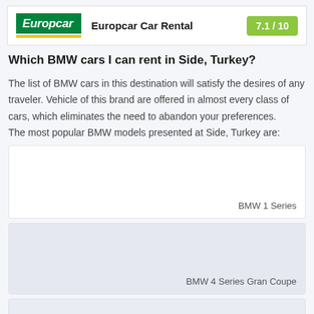[Figure (logo): Europcar logo with green background and yellow underline, showing brand name 'Europcar Car Rental' and score badge '7.1 / 10']
Which BMW cars I can rent in Side, Turkey?
The list of BMW cars in this destination will satisfy the desires of any traveler. Vehicle of this brand are offered in almost every class of cars, which eliminates the need to abandon your preferences.
The most popular BMW models presented at Side, Turkey are:
[Figure (photo): BMW 1 Series car image placeholder card]
[Figure (photo): BMW 4 Series Gran Coupe car image placeholder card]
[Figure (photo): Partial car card at bottom of page]